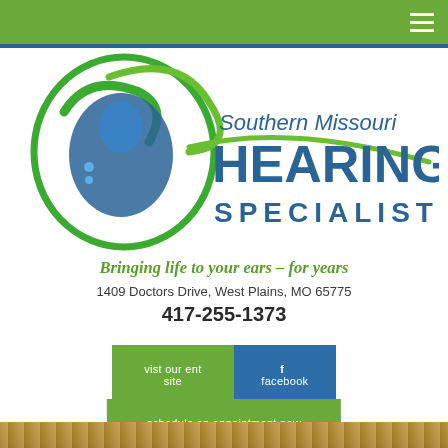Navigation bar with hamburger menu
[Figure (logo): Southern Missouri Hearing Specialists logo with green swirl and blue face silhouette graphic, text reads 'Southern Missouri HEARING SPECIALISTS']
Bringing life to your ears - for years
1409 Doctors Drive, West Plains, MO 65775
417-255-1373
vist our ent site
facebook
schedule an appointment now
[Figure (photo): Bottom strip showing outdoor autumn/fall foliage scene]